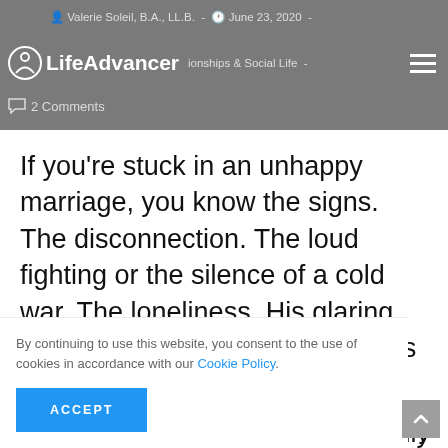Valerie Soleil, B.A., LL.B. - June 23, 2020 - Relationships & Social Life - 2 Comments
LifeAdvancer
If you're stuck in an unhappy marriage, you know the signs. The disconnection. The loud fighting or the silence of a cold war. The loneliness. His glaring, intolerable flaws. And the grief as you face…
By continuing to use this website, you consent to the use of cookies in accordance with our Cookie Policy.
ACCEPT